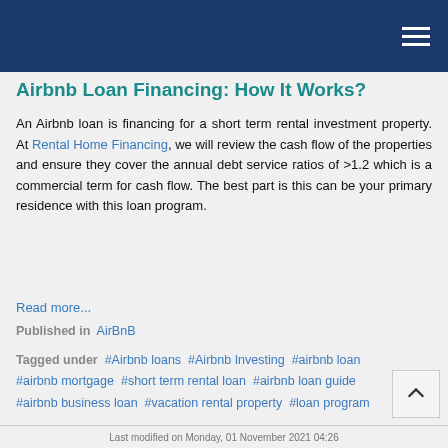Airbnb Loan Financing: How It Works?
An Airbnb loan is financing for a short term rental investment property. At Rental Home Financing, we will review the cash flow of the properties and ensure they cover the annual debt service ratios of >1.2 which is a commercial term for cash flow. The best part is this can be your primary residence with this loan program.
Read more...
Published in AirBnB
Tagged under #Airbnb loans #Airbnb Investing #airbnb loan #airbnb mortgage #short term rental loan #airbnb loan guide #airbnb business loan #vacation rental property #loan program
Last modified on Monday, 01 November 2021 04:26